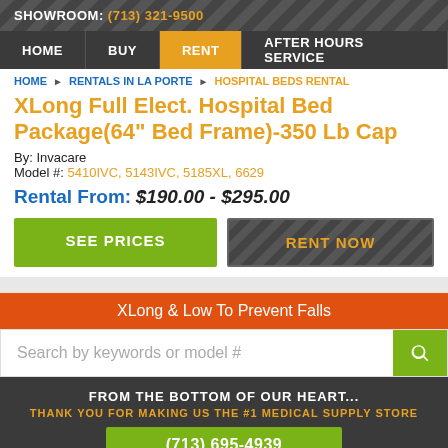SHOWROOM: (713) 321-9500
HOME | BUY | RENT | AFTER HOURS SERVICE
HOME ▶ RENTALS IN LA PORTE ▶ HOSPITAL BEDS RENTAL
XLong Full Elect. Hospital Bed Package(64" Bed Frame)-350 Lb Cap
By: Invacare
Model #: 5410IVC, 5143IVC, 5185XL, 6629
Rental From: $190.00 - $295.00
SEE PRICES | RENT NOW
XLong & Low To Prevent Falls
Search by keywords or model #
FROM THE BOTTOM OF OUR HEART...
THANK YOU FOR MAKING US THE #1 MEDICAL SUPPLY STORE
(713) 695-4939